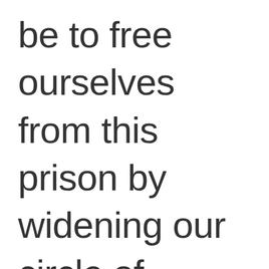be to free ourselves from this prison by widening our circle of compassion to